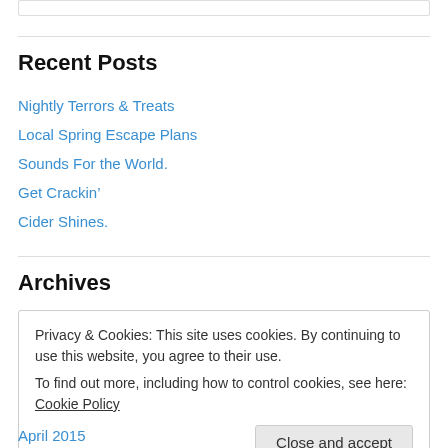Recent Posts
Nightly Terrors & Treats
Local Spring Escape Plans
Sounds For the World.
Get Crackin'
Cider Shines.
Archives
Privacy & Cookies: This site uses cookies. By continuing to use this website, you agree to their use.
To find out more, including how to control cookies, see here: Cookie Policy
April 2015